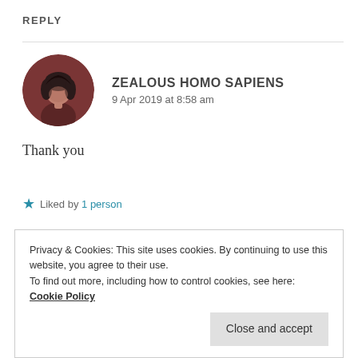REPLY
ZEALOUS HOMO SAPIENS
9 Apr 2019 at 8:58 am
[Figure (illustration): Circular avatar photo of a person with dark hair, reddish/dark brown toned image]
Thank you
★ Liked by 1 person
REPLY
Privacy & Cookies: This site uses cookies. By continuing to use this website, you agree to their use.
To find out more, including how to control cookies, see here: Cookie Policy
Close and accept